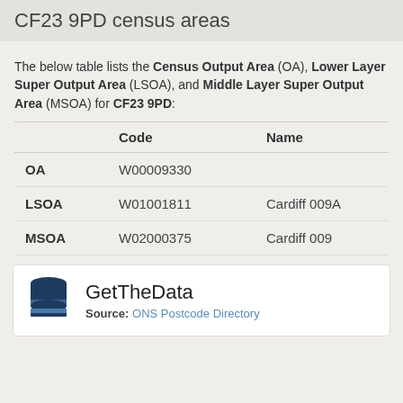CF23 9PD census areas
The below table lists the Census Output Area (OA), Lower Layer Super Output Area (LSOA), and Middle Layer Super Output Area (MSOA) for CF23 9PD:
|  | Code | Name |
| --- | --- | --- |
| OA | W00009330 |  |
| LSOA | W01001811 | Cardiff 009A |
| MSOA | W02000375 | Cardiff 009 |
GetTheData Source: ONS Postcode Directory